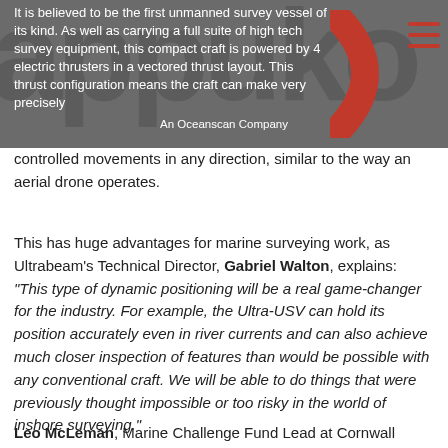[Figure (other): Dark grey header banner with watermark text 'appuko' and a red parenthesis/bracket symbol, a hamburger menu icon in red, and an Oceanscan company logo text overlay. Partially visible article text reads: 'It is believed to be the first unmanned survey vessel of its kind. As well as carrying a full suite of high tech survey equipment, this compact craft is powered by 4 electric thrusters in a vectored thrust layout. This thrust configuration means the craft can make very precisely controlled movements in any direction, similar to the way an aerial drone operates.']
It is believed to be the first unmanned survey vessel of its kind. As well as carrying a full suite of high tech survey equipment, this compact craft is powered by 4 electric thrusters in a vectored thrust layout. This thrust configuration means the craft can make very precisely controlled movements in any direction, similar to the way an aerial drone operates.
This has huge advantages for marine surveying work, as Ultrabeam's Technical Director, Gabriel Walton, explains: "This type of dynamic positioning will be a real game-changer for the industry. For example, the Ultra-USV can hold its position accurately even in river currents and can also achieve much closer inspection of features than would be possible with any conventional craft. We will be able to do things that were previously thought impossible or too risky in the world of inshore surveying."
Leo McLeman, Marine Challenge Fund Lead at Cornwall